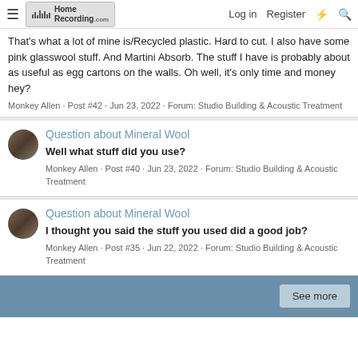HomeRecording.com | Log in | Register
That's what a lot of mine is/Recycled plastic. Hard to cut. I also have some pink glasswool stuff. And Martini Absorb. The stuff I have is probably about as useful as egg cartons on the walls. Oh well, it's only time and money hey?
Monkey Allen · Post #42 · Jun 23, 2022 · Forum: Studio Building & Acoustic Treatment
Question about Mineral Wool
Well what stuff did you use?
Monkey Allen · Post #40 · Jun 23, 2022 · Forum: Studio Building & Acoustic Treatment
Question about Mineral Wool
I thought you said the stuff you used did a good job?
Monkey Allen · Post #35 · Jun 22, 2022 · Forum: Studio Building & Acoustic Treatment
See more